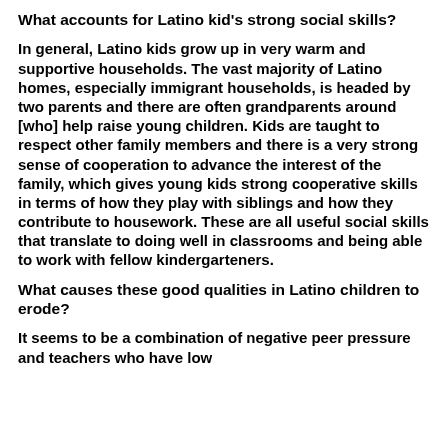What accounts for Latino kid's strong social skills?
In general, Latino kids grow up in very warm and supportive households. The vast majority of Latino homes, especially immigrant households, is headed by two parents and there are often grandparents around [who] help raise young children. Kids are taught to respect other family members and there is a very strong sense of cooperation to advance the interest of the family, which gives young kids strong cooperative skills in terms of how they play with siblings and how they contribute to housework. These are all useful social skills that translate to doing well in classrooms and being able to work with fellow kindergarteners.
What causes these good qualities in Latino children to erode?
It seems to be a combination of negative peer pressure and teachers who have low